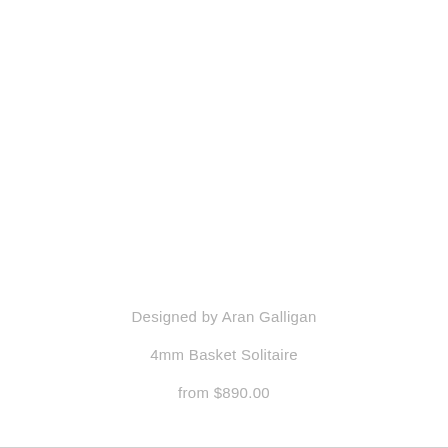Designed by Aran Galligan
4mm Basket Solitaire
from $890.00